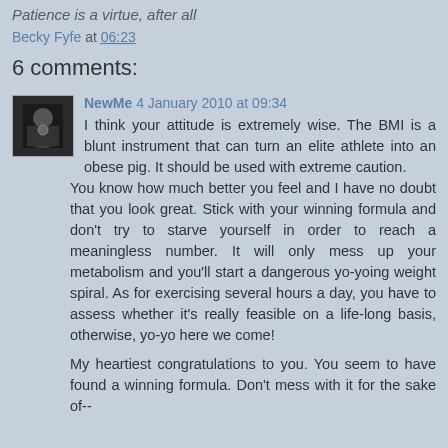Patience is a virtue, after all
Becky Fyfe at 06:23
6 comments:
NewMe 4 January 2010 at 09:34
I think your attitude is extremely wise. The BMI is a blunt instrument that can turn an elite athlete into an obese pig. It should be used with extreme caution.
You know how much better you feel and I have no doubt that you look great. Stick with your winning formula and don't try to starve yourself in order to reach a meaningless number. It will only mess up your metabolism and you'll start a dangerous yo-yoing weight spiral. As for exercising several hours a day, you have to assess whether it's really feasible on a life-long basis, otherwise, yo-yo here we come!
My heartiest congratulations to you. You seem to have found a winning formula. Don't mess with it for the sake of--